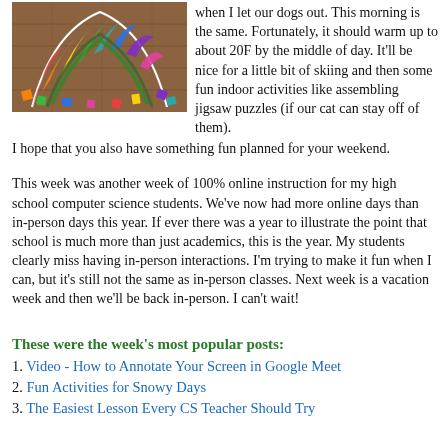[Figure (photo): A colorful jigsaw puzzle in the shape of an arc or fan, partially assembled, with many loose pieces scattered on a wooden floor/table surface.]
when I let our dogs out. This morning is the same. Fortunately, it should warm up to about 20F by the middle of day. It'll be nice for a little bit of skiing and then some fun indoor activities like assembling jigsaw puzzles (if our cat can stay off of them). I hope that you also have something fun planned for your weekend.
This week was another week of 100% online instruction for my high school computer science students. We've now had more online days than in-person days this year. If ever there was a year to illustrate the point that school is much more than just academics, this is the year. My students clearly miss having in-person interactions. I'm trying to make it fun when I can, but it's still not the same as in-person classes. Next week is a vacation week and then we'll be back in-person. I can't wait!
These were the week's most popular posts:
1. Video - How to Annotate Your Screen in Google Meet
2. Fun Activities for Snowy Days
3. The Easiest Lesson Every CS Teacher Should Try